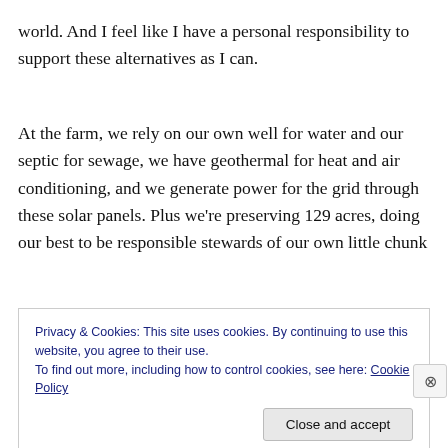world. And I feel like I have a personal responsibility to support these alternatives as I can.
At the farm, we rely on our own well for water and our septic for sewage, we have geothermal for heat and air conditioning, and we generate power for the grid through these solar panels. Plus we're preserving 129 acres, doing our best to be responsible stewards of our own little chunk
Privacy & Cookies: This site uses cookies. By continuing to use this website, you agree to their use.
To find out more, including how to control cookies, see here: Cookie Policy
Close and accept